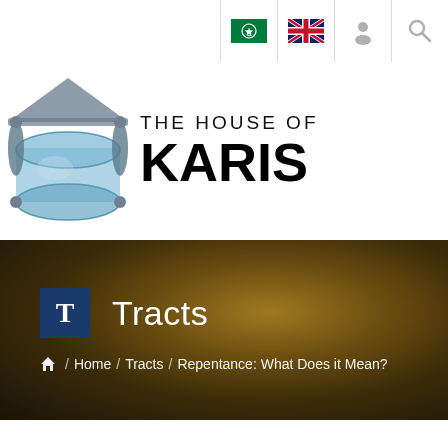[Figure (screenshot): Navigation bar with Arabic flag, UK flag, user icon, and search icon]
[Figure (logo): The House of Karis logo with scroll illustration and text]
[Figure (infographic): Hero banner with golden-brown blurred background, Tracts icon T and title, breadcrumb navigation showing Home / Tracts / Repentance: What Does it Mean?]